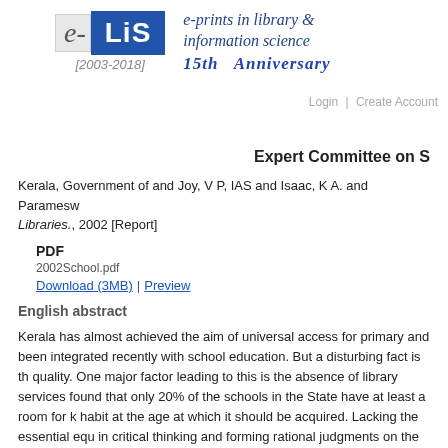[Figure (logo): e-LiS logo with blue box containing LiS text, italic e- prefix, [2003-2018] year label, and tagline 'e-prints in library & information science' with '15th Anniversary']
Login | Create Account
Expert Committee on S
Kerala, Government of and Joy, V P, IAS and Isaac, K A. and Paramesw... Libraries., 2002 [Report]
PDF
2002School.pdf
Download (3MB) | Preview
English abstract
Kerala has almost achieved the aim of universal access for primary and been integrated recently with school education. But a disturbing fact is th quality. One major factor leading to this is the absence of library services found that only 20% of the schools in the State have at least a room for k habit at the age at which it should be acquired. Lacking the essential equ in critical thinking and forming rational judgments on the problems that th